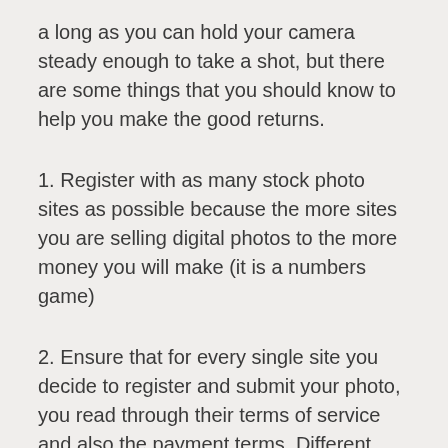a long as you can hold your camera steady enough to take a shot, but there are some things that you should know to help you make the good returns.
1. Register with as many stock photo sites as possible because the more sites you are selling digital photos to the more money you will make (it is a numbers game)
2. Ensure that for every single site you decide to register and submit your photo, you read through their terms of service and also the payment terms. Different sites obviously have different rates of payment and different requirements in terms of what you can and can not submit to their site.